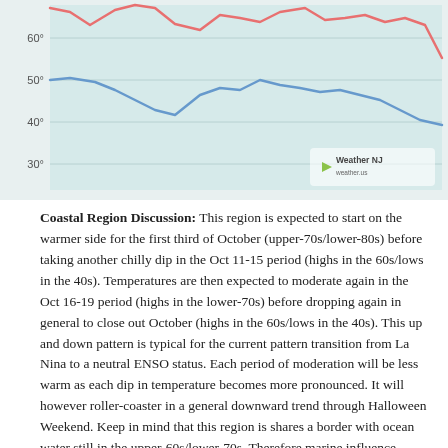[Figure (line-chart): Line chart showing temperature trends with two lines (red/pink for highs, blue for lows) over time. Y-axis shows values 30°, 40°, 50°, 60°. Background is light teal/mint. Weather NJ logo visible in lower right. Red line fluctuates around 60-70s range, blue line fluctuates around 40-50s range, both trending downward toward right.]
Coastal Region Discussion: This region is expected to start on the warmer side for the first third of October (upper-70s/lower-80s) before taking another chilly dip in the Oct 11-15 period (highs in the 60s/lows in the 40s). Temperatures are then expected to moderate again in the Oct 16-19 period (highs in the lower-70s) before dropping again in general to close out October (highs in the 60s/lows in the 40s). This up and down pattern is typical for the current pattern transition from La Nina to a neutral ENSO status. Each period of moderation will be less warm as each dip in temperature becomes more pronounced. It will however roller-coaster in a general downward trend through Halloween Weekend. Keep in mind that this region is shares a border with ocean water still in the upper-60s/lower-70s. Therefore marine influence (warmer overnight temperatures, cooler daytime high temperatures, and fog) is very much on the table this time of year. The entire state is hurting for precipitation and not much is expected outside of the mild-to-cold transition surrounding